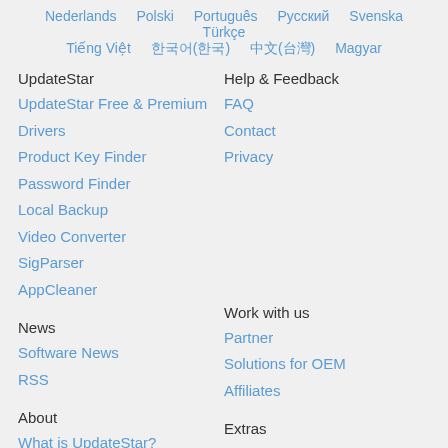Nederlands  Polski  Português  Русский  Svenska  Türkçe  Tiếng Việt  한국어(한국)  中文(台灣)  Magyar
UpdateStar
UpdateStar Free & Premium
Drivers
Product Key Finder
Password Finder
Local Backup
Video Converter
SigParser
AppCleaner
Help & Feedback
FAQ
Contact
Privacy
News
Software News
RSS
Work with us
Partner
Solutions for OEM
Affiliates
About
What is UpdateStar?
Extras
Software Portal